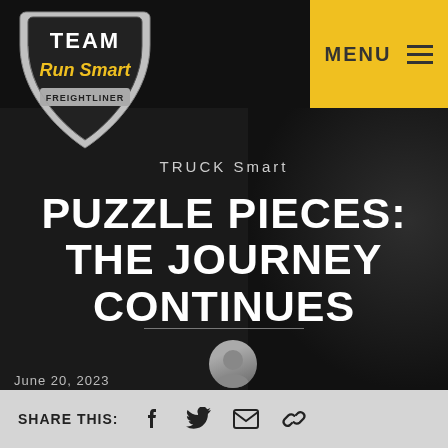[Figure (logo): Team Run Smart Freightliner shield logo — white shield with TEAM text and yellow Run Smart italic text, Freightliner badge at bottom]
MENU
TRUCK Smart
PUZZLE PIECES: THE JOURNEY CONTINUES
SHARE THIS: